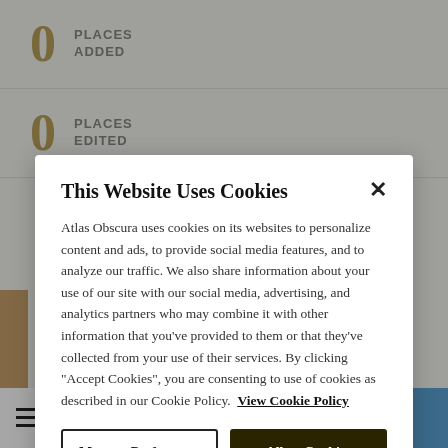0 PLACES ADDED
0 PLACES EDITED
This Website Uses Cookies
Atlas Obscura uses cookies on its websites to personalize content and ads, to provide social media features, and to analyze our traffic. We also share information about your use of our site with our social media, advertising, and analytics partners who may combine it with other information that you've provided to them or that they've collected from your use of their services. By clicking "Accept Cookies", you are consenting to use of cookies as described in our Cookie Policy.  View Cookie Policy
Manage Preferences
Allow Cookies